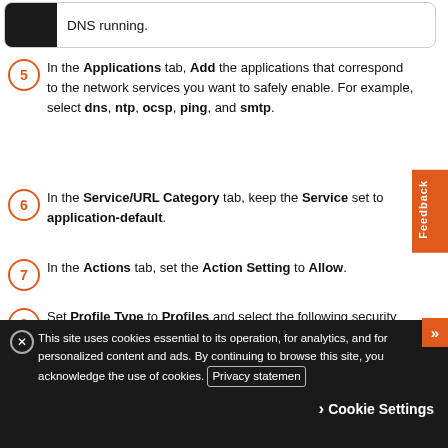[Figure (screenshot): Rounded box with dark left panel, showing partial text (truncated) about DNS running]
5 - In the Applications tab, Add the applications that correspond to the network services you want to safely enable. For example, select dns, ntp, ocsp, ping, and smtp.
6 - In the Service/URL Category tab, keep the Service set to application-default.
7 - In the Actions tab, set the Action Setting to Allow.
8 - Set Profile Type to Profiles and select the following security profiles to attach to the policy rule:
This site uses cookies essential to its operation, for analytics, and for personalized content and ads. By continuing to browse this site, you acknowledge the use of cookies. Privacy statement
Cookie Settings